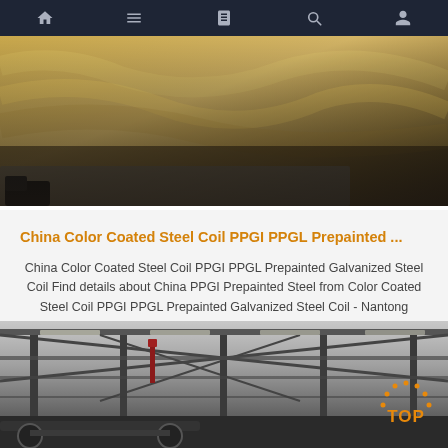Navigation bar with icons: home, menu, book, search, user
[Figure (photo): Close-up of yellow/golden fabric or coated steel sheet material with a dark boot visible at lower left]
China Color Coated Steel Coil PPGI PPGL Prepainted ...
China Color Coated Steel Coil PPGI PPGL Prepainted Galvanized Steel Coil Find details about China PPGI Prepainted Steel from Color Coated Steel Coil PPGI PPGL Prepainted Galvanized Steel Coil - Nantong Chengyue International Trade Co. Ltd.
Get Price
[Figure (photo): Interior of a steel factory/warehouse showing structural steel beams, columns, and industrial machinery with a TOP badge overlay in orange]